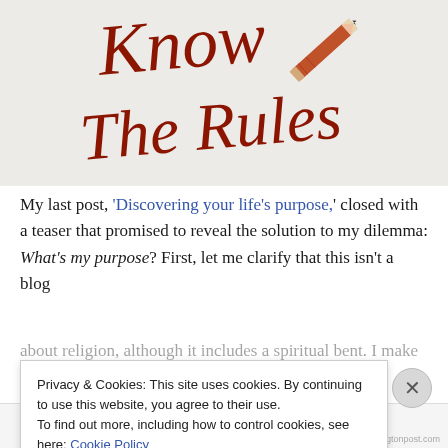[Figure (illustration): Book cover or image showing handwritten-style cursive text 'Know The Rules' in dark red/maroon color on a light background, with a red pencil drawn in the upper right corner.]
My last post, 'Discovering your life's purpose,' closed with a teaser that promised to reveal the solution to my dilemma: What's my purpose? First, let me clarify that this isn't a blog about religion, although it includes a spiritual bent. I make no
Privacy & Cookies: This site uses cookies. By continuing to use this website, you agree to their use.
To find out more, including how to control cookies, see here: Cookie Policy
Close and accept